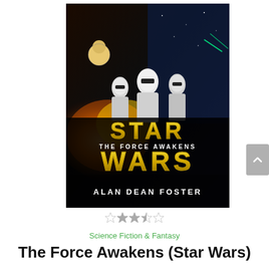[Figure (illustration): Book cover for Star Wars: The Force Awakens by Alan Dean Foster. Features Star Wars characters including stormtroopers against an explosive battle scene background with the Star Wars logo in gold outlined text, 'The Force Awakens' subtitle in white, and author name 'Alan Dean Foster' in white text at the bottom.]
[Figure (other): Star rating display showing approximately 2.5 out of 5 stars]
Science Fiction & Fantasy
The Force Awakens (Star Wars)